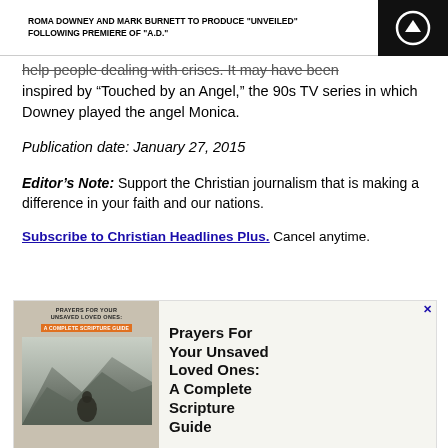ROMA DOWNEY AND MARK BURNETT TO PRODUCE "UNVEILED" FOLLOWING PREMIERE OF "A.D."
help people dealing with crises. It may have been inspired by “Touched by an Angel,” the 90s TV series in which Downey played the angel Monica.
Publication date: January 27, 2015
Editor’s Note: Support the Christian journalism that is making a difference in your faith and our nations.
Subscribe to Christian Headlines Plus. Cancel anytime.
[Figure (illustration): Advertisement for 'Prayers For Your Unsaved Loved Ones: A Complete Scripture Guide' book, showing book cover with mountain landscape and a person, alongside bold text of the title.]